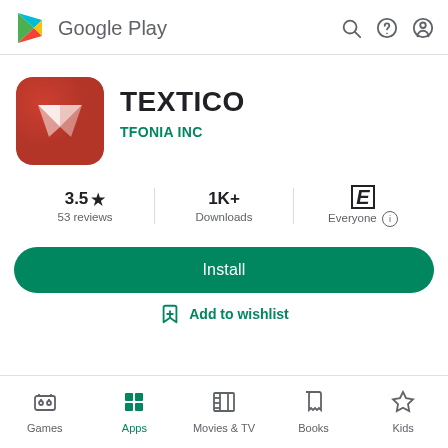[Figure (screenshot): Google Play Store header with logo, search icon, help icon, and profile icon]
[Figure (logo): Textico app icon: red rounded square with white T-shaped arrow logo]
TEXTICO
TFONIA INC
3.5★
53 reviews
1K+
Downloads
E
Everyone
Install
Add to wishlist
Games
Apps
Movies & TV
Books
Kids